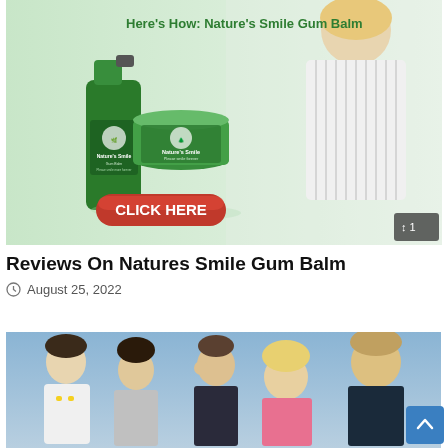[Figure (photo): Advertisement image for Nature's Smile Gum Balm showing two green product bottles (spray and jar) labeled 'Nature's Smile', a blonde woman in a striped shirt, green text 'Here's How: Nature's Smile Gum Balm', a red 'CLICK HERE' button, and a small overlay showing '1' in bottom right corner.]
Reviews On Natures Smile Gum Balm
August 25, 2022
[Figure (photo): Photo of five TV show cast members posing in formal attire against a blue gradient background — one in a white tuxedo with yellow bow tie, a woman in a silver dress, a man in a dark suit, a blonde woman in a pink outfit, and an older man in a dark suit.]